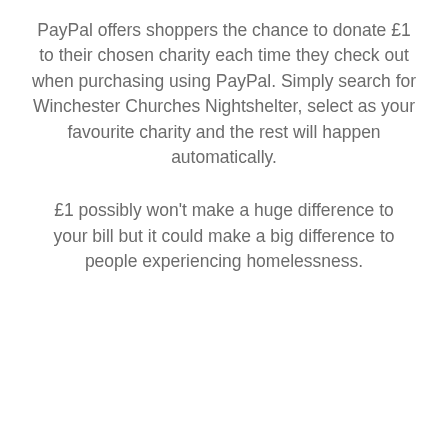PayPal offers shoppers the chance to donate £1 to their chosen charity each time they check out when purchasing using PayPal. Simply search for Winchester Churches Nightshelter, select as your favourite charity and the rest will happen automatically.
£1 possibly won't make a huge difference to your bill but it could make a big difference to people experiencing homelessness.